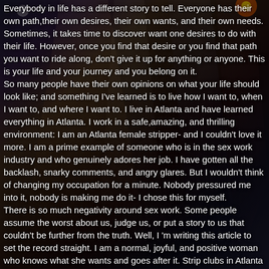[Figure (photo): Dark background with colorful stage lights (blue, pink, yellow, white beams) shining upward, creating a concert/nightclub atmosphere]
Everybody in life has a different story to tell. Everyone has their own path,their own desires, their own wants, and their own needs. Sometimes, it takes time to discover want one desires to do with their life. However, once you find that desire or you find that path you want to ride along, don't give it up for anything or anyone. This is your life and your journey and you belong on it.
So many people have their own opinions on what your life should look like; and something I've learned is to live how I want to, when I want to, and where I want to. I live in Atlanta and have learned everything in Atlanta. I work in a safe,amazing, and thrilling environment: I am an Atlanta female stripper- and I couldn't love it more. I am a prime example of someone who is in the sex work industry and who genuinely adores her job. I have gotten all the backlash, snarky comments, and angry glares. But I wouldn't think of changing my occupation for a minute. Nobody pressured me into it, nobody is making me do it- I chose this for myself.
There is so much negativity around sex work. Some people assume the worst about us, judge us, or put a story to us that couldn't be further from the truth. Well, I 'm writing this article to set the record straight. I am a normal, joyful, and positive woman who knows what she wants and goes after it. Strip clubs in Atlanta have